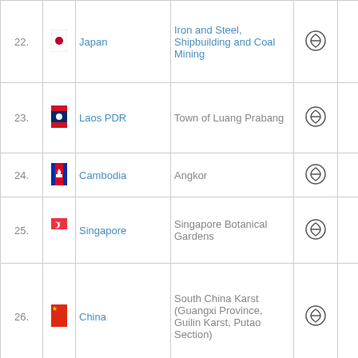| # | Flag | Country | Site | Icon | Year |
| --- | --- | --- | --- | --- | --- |
| 22. |  | Japan | Iron and Steel, Shipbuilding and Coal Mining |  | 2015 |
| 23. |  | Laos PDR | Town of Luang Prabang |  | 2016 |
| 24. |  | Cambodia | Angkor |  | 2016 |
| 25. |  | Singapore | Singapore Botanical Gardens |  | 2016 |
| 26. |  | China | South China Karst (Guangxi Province, Guilin Karst, Putao Section) |  | 2016 |
| 27. |  | China/Macao | Historic Center of Macao |  | 2016 |